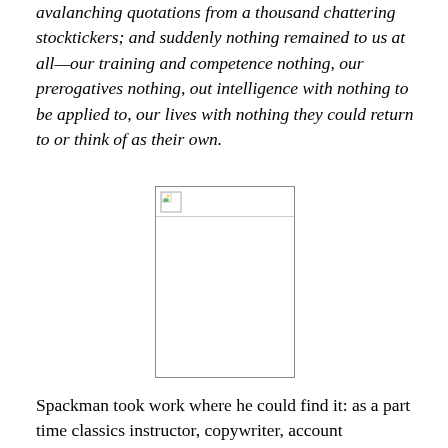avalanching quotations from a thousand chattering stocktickers; and suddenly nothing remained to us at all—our training and competence nothing, our prerogatives nothing, out intelligence with nothing to be applied to, our lives with nothing they could return to or think of as their own.
[Figure (photo): A broken/missing image placeholder showing a small broken image icon in the top-left corner, with an otherwise blank white rectangle bordered in gray.]
Spackman took work where he could find it: as a part time classics instructor, copywriter, account executive, radio